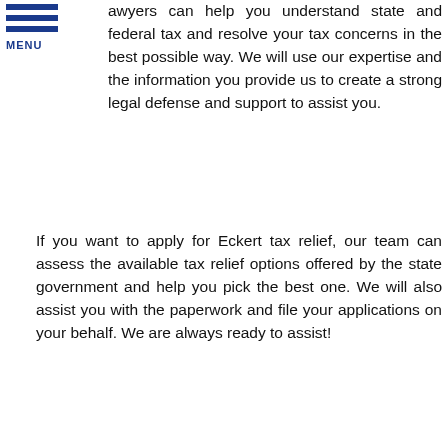MENU
awyers can help you understand state and federal tax and resolve your tax concerns in the best possible way. We will use our expertise and the information you provide us to create a strong legal defense and support to assist you.
If you want to apply for Eckert tax relief, our team can assess the available tax relief options offered by the state government and help you pick the best one. We will also assist you with the paperwork and file your applications on your behalf. We are always ready to assist!
REQUEST A CONSULTATION
Let's Talk – Compassionate Legal Advice
[Figure (logo): Defense Tax Partners logo with phone and mail icons]